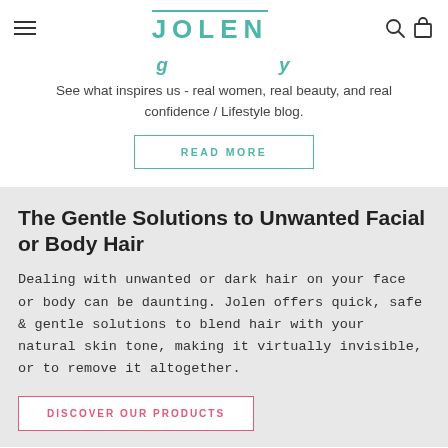JOLEN
See what inspires us - real women, real beauty, and real confidence / Lifestyle blog.
READ MORE
The Gentle Solutions to Unwanted Facial or Body Hair
Dealing with unwanted or dark hair on your face or body can be daunting. Jolen offers quick, safe & gentle solutions to blend hair with your natural skin tone, making it virtually invisible, or to remove it altogether.
DISCOVER OUR PRODUCTS